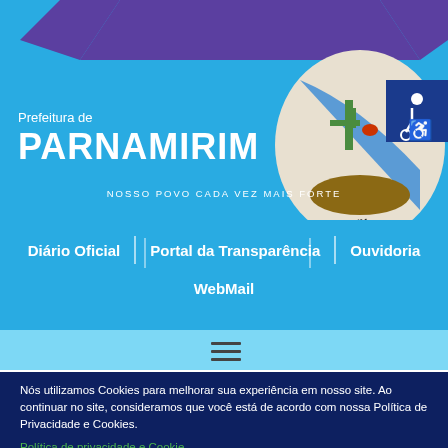[Figure (screenshot): Prefeitura de Parnamirim website header with municipal coat of arms, purple ribbon banner, and blue background]
Prefeitura de PARNAMIRIM
NOSSO POVO CADA VEZ MAIS FORTE
Diário Oficial | Portal da Transparência | Ouvidoria | WebMail
[Figure (infographic): Hamburger menu icon (three horizontal lines)]
Nós utilizamos Cookies para melhorar sua experiência em nosso site. Ao continuar no site, consideramos que você está de acordo com nossa Política de Privacidade e Cookies.
Política de privacidade e Cookie
Aceitar